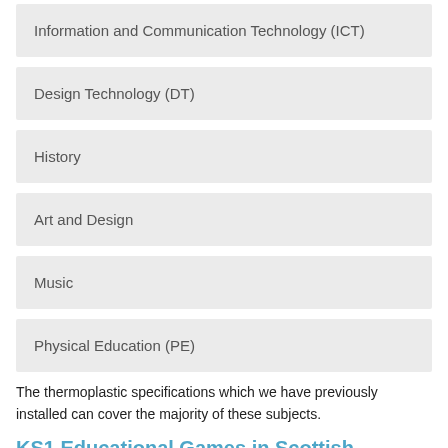Information and Communication Technology (ICT)
Design Technology (DT)
History
Art and Design
Music
Physical Education (PE)
The thermoplastic specifications which we have previously installed can cover the majority of these subjects.
KS1 Educational Games in Scottish Borders
The KS1 playground educational games for the English Language may be an alphabet caterpillar for maths, it can be a numeracy grid